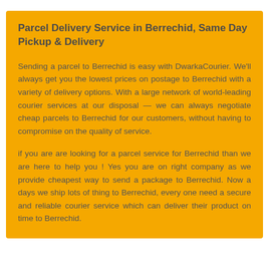Parcel Delivery Service in Berrechid, Same Day Pickup & Delivery
Sending a parcel to Berrechid is easy with DwarkaCourier. We'll always get you the lowest prices on postage to Berrechid with a variety of delivery options. With a large network of world-leading courier services at our disposal — we can always negotiate cheap parcels to Berrechid for our customers, without having to compromise on the quality of service.
if you are are looking for a parcel service for Berrechid than we are here to help you ! Yes you are on right company as we provide cheapest way to send a package to Berrechid. Now a days we ship lots of thing to Berrechid, every one need a secure and reliable courier service which can deliver their product on time to Berrechid.